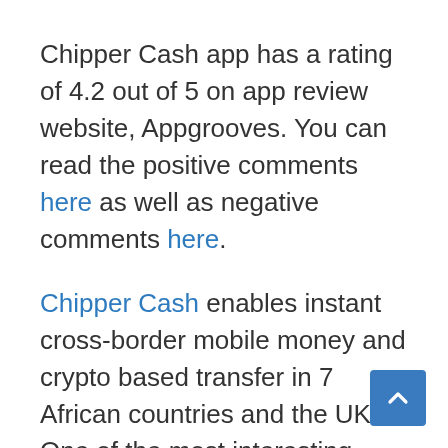Chipper Cash app has a rating of 4.2 out of 5 on app review website, Appgrooves. You can read the positive comments here as well as negative comments here.
Chipper Cash enables instant cross-border mobile money and crypto based transfer in 7 African countries and the UK. One of the most interesting aspects of Chipper Cash is that is absolutely free to...